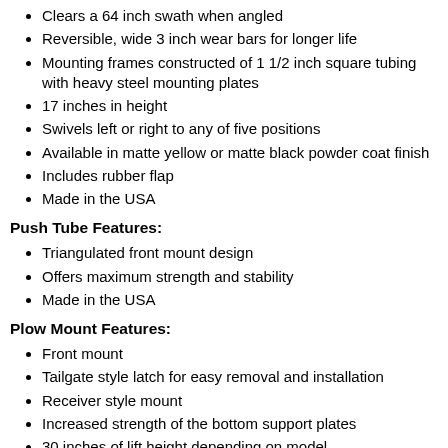Clears a 64 inch swath when angled
Reversible, wide 3 inch wear bars for longer life
Mounting frames constructed of 1 1/2 inch square tubing with heavy steel mounting plates
17 inches in height
Swivels left or right to any of five positions
Available in matte yellow or matte black powder coat finish
Includes rubber flap
Made in the USA
Push Tube Features:
Triangulated front mount design
Offers maximum strength and stability
Made in the USA
Plow Mount Features:
Front mount
Tailgate style latch for easy removal and installation
Receiver style mount
Increased strength of the bottom support plates
30 inches of lift height depending on model